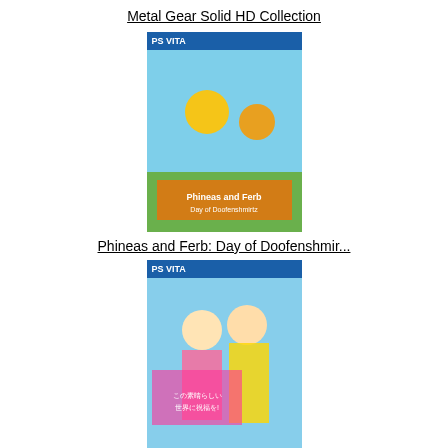Metal Gear Solid HD Collection
[Figure (photo): PS Vita game cover for Phineas and Ferb: Day of Doofenshmirtz]
Phineas and Ferb: Day of Doofenshmir...
[Figure (photo): PS Vita game cover for Kono Subarashii Sekai ni Shukufuku w...]
Kono Subarashii Sekai ni Shukufuku w...
[Figure (photo): PS Vita game cover for Himouto! Umaru-chan Himouto Ikusei K...]
Himouto! Umaru-chan Himouto Ikusei K...
[Figure (photo): PS Vita game cover (partial, bottom of page)]